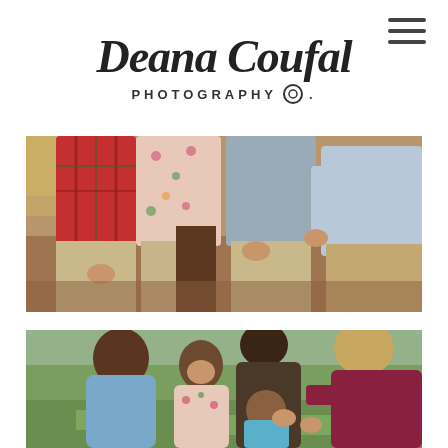Deana Coufal Photography
[Figure (photo): Cropped family photo showing four people seated outdoors in autumn setting, wearing fall-colored clothing including plaid flannel, floral, and khaki. Only legs and torsos visible. Fallen leaves and mulch on ground.]
[Figure (photo): Family photo showing parents and three children playing outdoors on grass. Children include an older boy in blue, a girl in floral dress, and a toddler. Mother has blonde hair wearing maroon top. All leaning in together joyfully.]